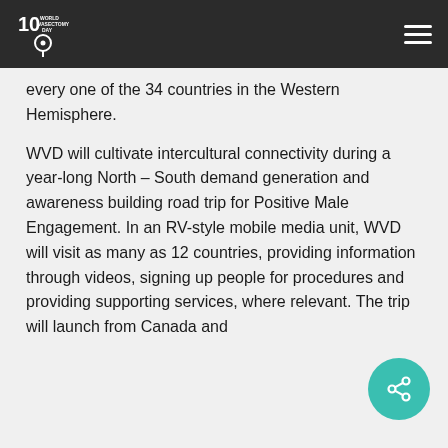World Vasectomy Day logo and navigation
every one of the 34 countries in the Western Hemisphere.
WVD will cultivate intercultural connectivity during a year-long North – South demand generation and awareness building road trip for Positive Male Engagement. In an RV-style mobile media unit, WVD will visit as many as 12 countries, providing information through videos, signing up people for procedures and providing supporting services, where relevant. The trip will launch from Canada and